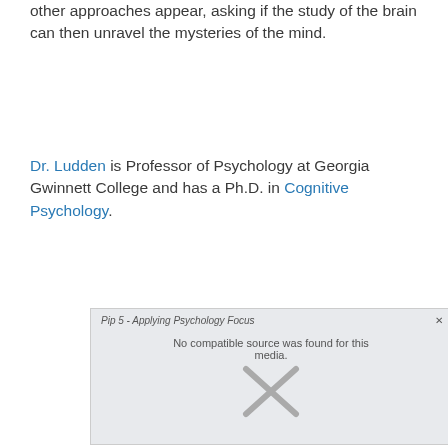other approaches appear, asking if the study of the brain can then unravel the mysteries of the mind.
Dr. Ludden is Professor of Psychology at Georgia Gwinnett College and has a Ph.D. in Cognitive Psychology.
[Figure (screenshot): Embedded media player showing an error: 'No compatible source was found for this media.' with an X dismiss button. Title bar reads 'Pip 5 - Applying Psychology Focus'.]